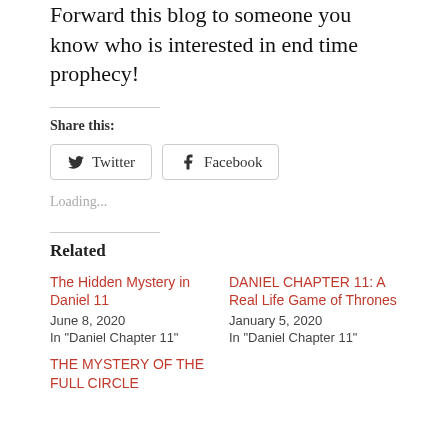Forward this blog to someone you know who is interested in end time prophecy!
Share this:
Twitter
Facebook
Loading...
Related
The Hidden Mystery in Daniel 11
June 8, 2020
In "Daniel Chapter 11"
DANIEL CHAPTER 11: A Real Life Game of Thrones
January 5, 2020
In "Daniel Chapter 11"
THE MYSTERY OF THE FULL CIRCLE